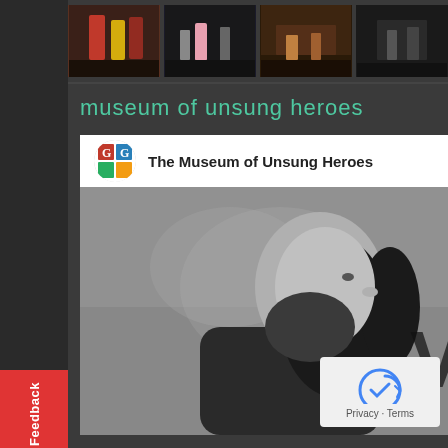[Figure (screenshot): Screenshot of a website showing 'museum of unsung heroes' section with thumbnail strip at top, a Google+ or social embed with The Museum of Unsung Heroes channel, and a black-and-white photo of a bearded man with long hair. A red Feedback tab is on the left side.]
museum of unsung heroes
The Museum of Unsung Heroes
Privacy · Terms